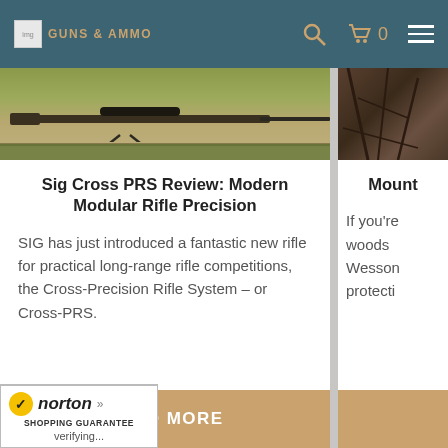GUNS & AMMO (navigation bar with search, cart, and menu icons)
[Figure (photo): Rifle lying in grass/ground on a bipod, outdoor shooting range scene]
[Figure (photo): Partially visible outdoor wooded/forest scene]
Sig Cross PRS Review: Modern Modular Rifle Precision
SIG has just introduced a fantastic new rifle for practical long-range rifle competitions, the Cross-Precision Rifle System – or Cross-PRS.
Mount
If you're woods Wesson protecti
READ MORE
[Figure (logo): Norton Shopping Guarantee badge with checkmark, verifying...]